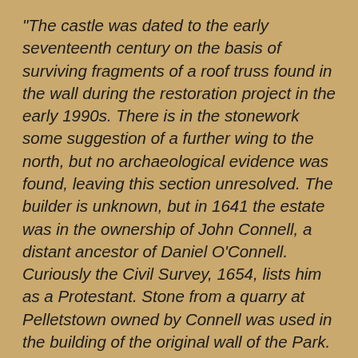“The castle was dated to the early seventeenth century on the basis of surviving fragments of a roof truss found in the wall during the restoration project in the early 1990s. There is in the stonework some suggestion of a further wing to the north, but no archaeological evidence was found, leaving this section unresolved. The builder is unknown, but in 1641 the estate was in the ownership of John Connell, a distant ancestor of Daniel O’Connell. Curiously the Civil Survey, 1654, lists him as a Protestant. Stone from a quarry at Pelletstown owned by Connell was used in the building of the original wall of the Park. The castle and its lands were purchased for the crown by the Duke of Ormonde in 1663 and it became the official residence of the second Keeper of the Park, Sir William Flower, who assigned it to a subordinate. The building was extended to become the Under Secretary’s residence in the late eighteenth century. After Independence it served as the residence of the Papal Nuncio. The later